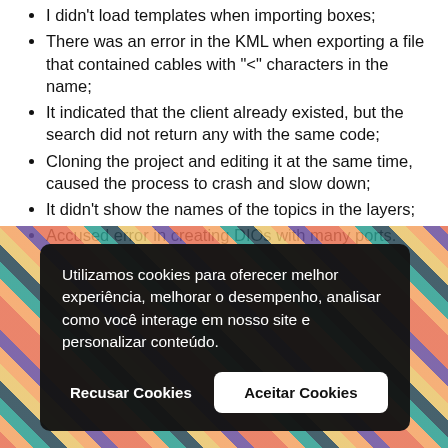I didn't load templates when importing boxes;
There was an error in the KML when exporting a file that contained cables with "<" characters in the name;
It indicated that the client already existed, but the search did not return any with the same code;
Cloning the project and editing it at the same time, caused the process to crash and slow down;
It didn't show the names of the topics in the layers;
Accused error in creating DIOs with many ports.
[Figure (screenshot): Cookie consent modal overlay on top of a colorful sticky-notes background image. The modal has a dark background and contains Portuguese text about cookies, with two buttons: 'Recusar Cookies' (Refuse Cookies) and 'Aceitar Cookies' (Accept Cookies).]